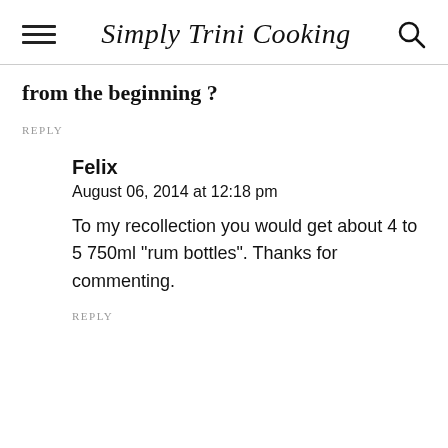Simply Trini Cooking
from the beginning ?
REPLY
Felix
August 06, 2014 at 12:18 pm
To my recollection you would get about 4 to 5 750ml "rum bottles". Thanks for commenting.
REPLY